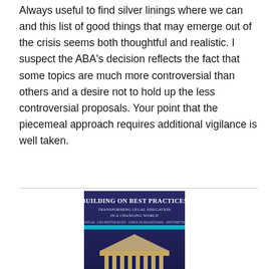Always useful to find silver linings where we can and this list of good things that may emerge out of the crisis seems both thoughtful and realistic. I suspect the ABA's decision reflects the fact that some topics are much more controversial than others and a desire not to hold up the less controversial proposals. Your point that the piecemeal approach requires additional vigilance is well taken.
[Figure (illustration): Book cover: 'Building on Best Practices: Transforming Legal Education in a Changing World' with authors listed and a classical building with columns at the bottom on a dark blue/purple background.]